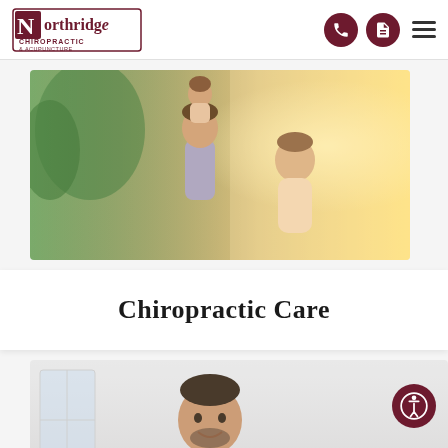Northridge Chiropractic & Acupuncture
[Figure (photo): Happy family outdoors — man with child on shoulders and smiling woman, warm sunny background]
Chiropractic Care
[Figure (photo): Male chiropractor in blue scrubs smiling, working in a clinical setting]